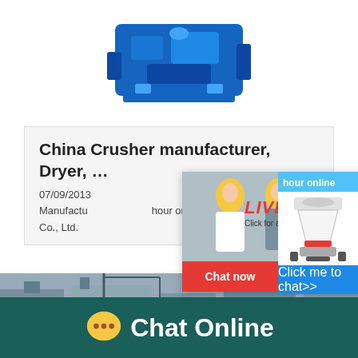[Figure (photo): Blue industrial machine/gearbox equipment on white background]
China Crusher manufacturer, Dryer, …
07/09/2013 … ding Mill Manufacturer … hour online Co., Ltd.
[Figure (screenshot): Live chat popup overlay with workers in hard hats, LIVE CHAT text in red italic, Click for a Free Consultation, Chat now and Chat later buttons]
[Figure (photo): Right side chat widget showing a cone crusher machine and Click me to chat>> button on blue background]
[Figure (photo): Factory/industrial building image in the background]
Chat Online